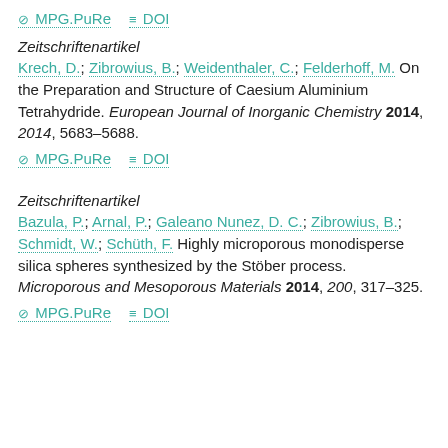⊘ MPG.PuRe  ≡ DOI
Zeitschriftenartikel
Krech, D.; Zibrowius, B.; Weidenthaler, C.; Felderhoff, M. On the Preparation and Structure of Caesium Aluminium Tetrahydride. European Journal of Inorganic Chemistry 2014, 2014, 5683–5688.
⊘ MPG.PuRe  ≡ DOI
Zeitschriftenartikel
Bazula, P.; Arnal, P.; Galeano Nunez, D. C.; Zibrowius, B.; Schmidt, W.; Schüth, F. Highly microporous monodisperse silica spheres synthesized by the Stöber process. Microporous and Mesoporous Materials 2014, 200, 317–325.
⊘ MPG.PuRe  ≡ DOI